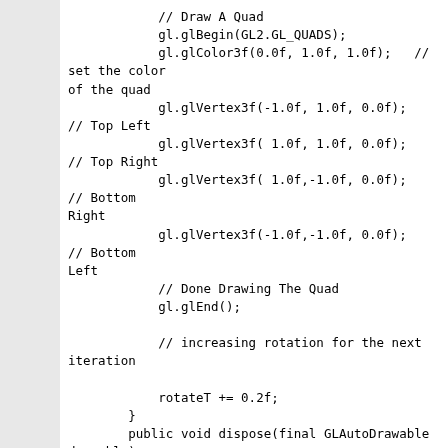// Draw A Quad
gl.glBegin(GL2.GL_QUADS);
gl.glColor3f(0.0f, 1.0f, 1.0f);   // set the color of the quad
gl.glVertex3f(-1.0f, 1.0f, 0.0f);   // Top Left
gl.glVertex3f( 1.0f, 1.0f, 0.0f);   // Top Right
gl.glVertex3f( 1.0f,-1.0f, 0.0f);   // Bottom Right
gl.glVertex3f(-1.0f,-1.0f, 0.0f);   // Bottom Left
// Done Drawing The Quad
gl.glEnd();

// increasing rotation for the next iteration

rotateT += 0.2f;
        }
        public void dispose(final GLAutoDrawable drawable)
{
            }
        });
        final NewtCanvasJFX glCanvas = new NewtCanvasJFX(glWindow1);
        glCanvas.setWidth(800);
        glCanvas.setHeight(600);
        g.getChildren().add(glCanvas);
        final Animator anim = new Animator(glWindow1);
        anim.start();